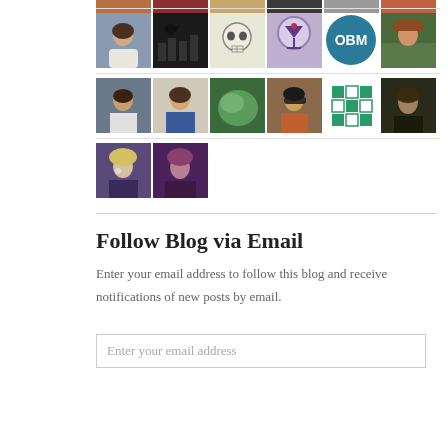[Figure (photo): Grid of avatar/profile images of blog followers, arranged in 4 rows]
Follow Blog via Email
Enter your email address to follow this blog and receive notifications of new posts by email.
[Figure (screenshot): Email input field with placeholder text 'Enter your email address']